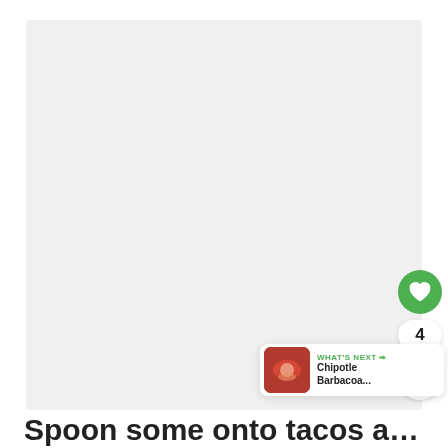[Figure (photo): Large food photo placeholder area, light gray background]
[Figure (infographic): Green heart/like button with count of 4 and share icon, plus a 'WHAT'S NEXT → Chipotle Barbacoa...' recommendation card with thumbnail]
Spoon some onto tacos and burritos or